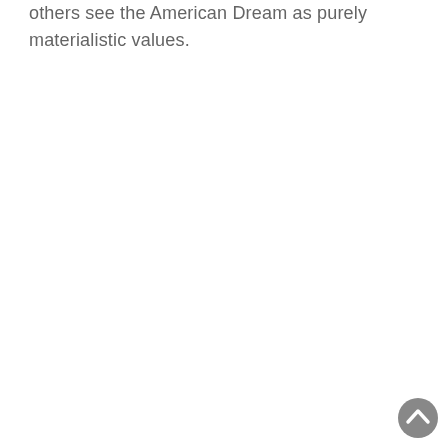others see the American Dream as purely materialistic values.
[Figure (other): Back to top button - circular grey arrow icon in bottom right corner]